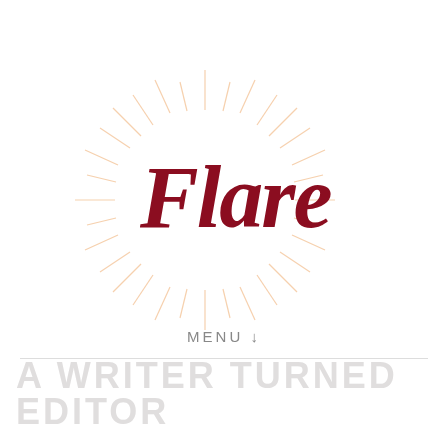[Figure (logo): Flare logo: cursive dark red text 'Flare' with sunburst/starburst rays in light peach/orange surrounding it]
MENU ↓
A WRITER TURNED EDITOR